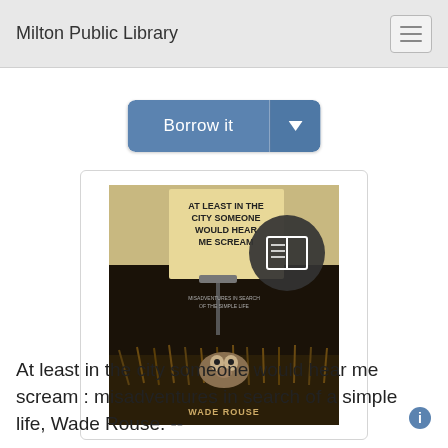Milton Public Library
[Figure (screenshot): Borrow it button with dropdown arrow, blue rounded rectangle button]
[Figure (photo): Book cover of 'At least in the city someone would hear me scream' by Wade Rouse, showing a groundhog or badger in tall grass with text on the cover, and a circular book icon overlay]
At least in the city someone would hear me scream : misadventures in search of a simple life, Wade Rouse. --